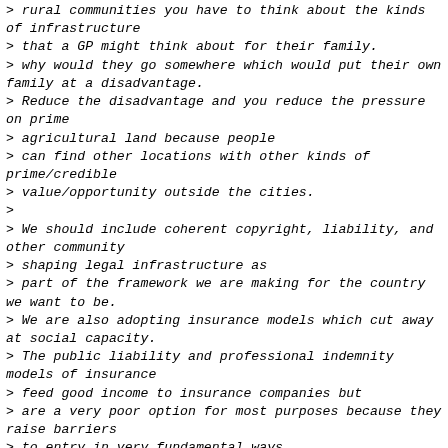> rural communities you have to think about the kinds of infrastructure
> that a GP might think about for their family.
> why would they go somewhere which would put their own family at a disadvantage.
> Reduce the disadvantage and you reduce the pressure on prime
> agricultural land because people
> can find other locations with other kinds of prime/credible
> value/opportunity outside the cities.
>
> We should include coherent copyright, liability, and other community
> shaping legal infrastructure as
> part of the framework we are making for the country we want to be.
> We are also adopting insurance models which cut away at social capacity.
> The public liability and professional indemnity models of insurance
> feed good income to insurance companies but
> are a very poor option for most purposes because they raise barriers
> to entry in very fundamental ways.
>
> If a small community has a CWA or other community meeting space or
> group they now need
> to fund an insurance company in order to be inclusive
> that for continuing...